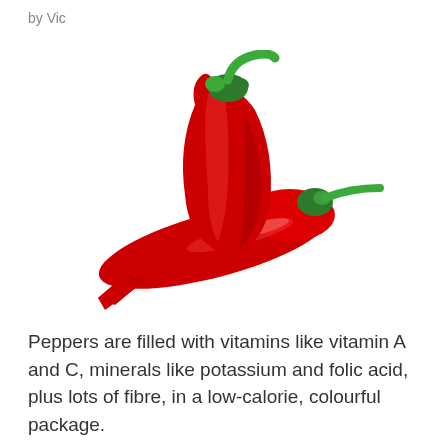by Vic
[Figure (illustration): Two red chili peppers with green stems, illustrated in a vector/clip-art style, crossing over each other diagonally on a white background.]
Peppers are filled with vitamins like vitamin A and C, minerals like potassium and folic acid, plus lots of fibre, in a low-calorie, colourful package.